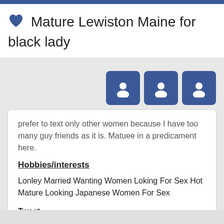💙 Mature Lewiston Maine for black lady
[Figure (illustration): Three blue square avatar/profile placeholder buttons with person icons, arranged horizontally]
prefer to text only other women because I have too many guy friends as it is. Matuee in a predicament here.
Hobbies/interests
Lonley Married Wanting Women Loking For Sex Hot Mature Looking Japanese Women For Sex
Tweet
[Figure (logo): Reddit alien logo icon in a blue square]
[Figure (illustration): Heart outline icon (red) and speech bubble icon (dark), social interaction buttons]